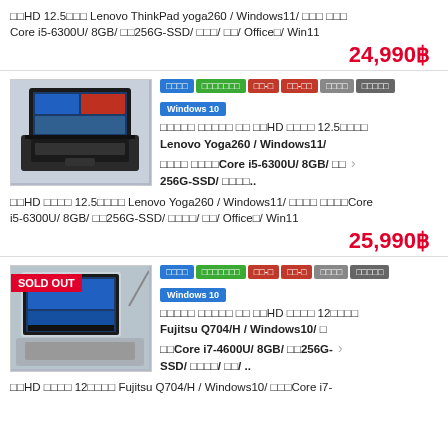□□HD 12.5□□□ Lenovo ThinkPad yoga260 / Windows11/ □□□ □□□ Core i5-6300U/ 8GB/ □□256G-SSD/ □□□/ □□/ Office□/ Win11
24,990฿
[Figure (photo): Lenovo Yoga260 laptop photo]
□□□□□ □□□□□ □□ □□HD □□□□ 12.5□□□□ Lenovo Yoga260 / Windows11/ □□□□ □□□□Core i5-6300U/ 8GB/ □□ 256G-SSD/ □□□□..
□□HD □□□□ 12.5□□□□ Lenovo Yoga260 / Windows11/ □□□□ □□□□Core i5-6300U/ 8GB/ □□256G-SSD/ □□□□/ □□/ Office□/ Win11
25,990฿
[Figure (photo): Fujitsu Q704/H laptop photo with SOLD OUT badge]
□□□□□ □□□□□ □□ □□HD □□□□ 12□□□□ Fujitsu Q704/H / Windows10/ □ □□Core i7-4600U/ 8GB/ □□256G-SSD/ □□□□/ □□/ ..
□□HD □□□□ 12□□□□ Fujitsu Q704/H / Windows10/ □□□Core i7-